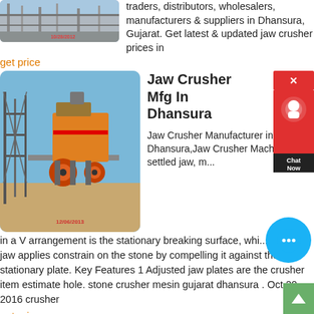[Figure (photo): Industrial construction site with concrete structure, timestamp 10/28/2012]
traders, distributors, wholesalers, manufacturers & suppliers in Dhansura, Gujarat. Get latest & updated jaw crusher prices in
get price
[Figure (photo): Large jaw crusher machine installed at a construction site, timestamp 12/06/2013]
Jaw Crusher Mfg In Dhansura
Jaw Crusher Manufacturer in Dhansura,Jaw Crusher Machi... settled jaw, m...
in a V arrangement is the stationary breaking surface, whi... versatile jaw applies constrain on the stone by compelling it against the stationary plate. Key Features 1 Adjusted jaw plates are the crusher item estimate hole. stone crusher mesin gujarat dhansura . Oct 20, 2016 crusher
get price